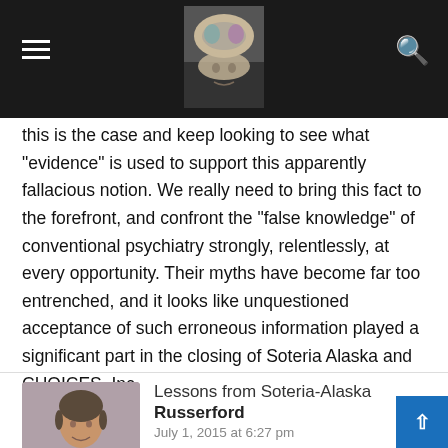Navigation header with hamburger menu, site logo, and search icon
this is the case and keep looking to see what "evidence" is used to support this apparently fallacious notion. We really need to bring this fact to the forefront, and confront the "false knowledge" of conventional psychiatry strongly, relentlessly, at every opportunity. Their myths have become far too entrenched, and it looks like unquestioned acceptance of such erroneous information played a significant part in the closing of Soteria Alaska and CHOICES, Inc.
Lessons from Soteria-Alaska
Russerford
July 1, 2015 at 6:27 pm
Man, you've really nailed it here, Michael, in terms of what is needed and how much better it would be than